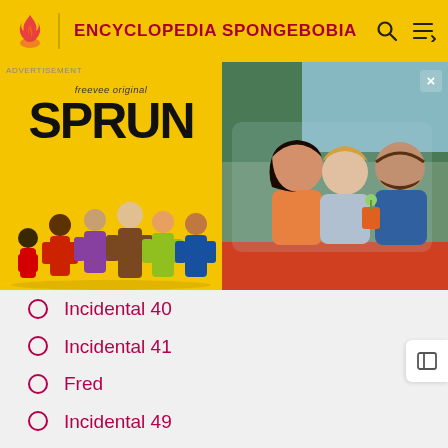ENCYCLOPEDIA SPONGEBOBIA
[Figure (screenshot): Advertisement banner for 'Sprung' Freevee Original show. Left side shows yellow background with show title 'SPRUNG' and cast characters. Right side shows three people in a car.]
Incidental 40
Incidental 41
Fred
Incidental 49
Incidental 82
Scooter
Incidental 47
Incidental 22
Incidental 60